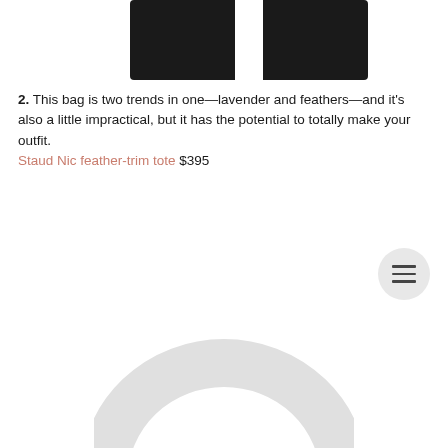[Figure (photo): Partial view of dark/black fashion items at the top of the page]
2. This bag is two trends in one—lavender and feathers—and it's also a little impractical, but it has the potential to totally make your outfit. Staud Nic feather-trim tote $395
[Figure (photo): Menu/hamburger button icon in a light gray circle]
[Figure (photo): Bottom portion of a white circular/ring-shaped object, likely a bag or accessory]